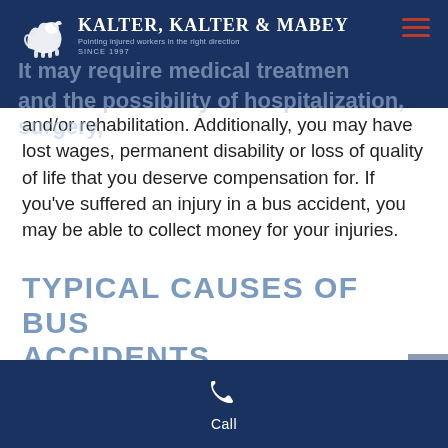Kalter, Kalter & Mabey — Pointing injured workers in the right direction SINCE 1997
It may require medical treatment and the possibility of hospitalization, surgery, and/or rehabilitation. Additionally, you may have lost wages, permanent disability or loss of quality of life that you deserve compensation for. If you've suffered an injury in a bus accident, you may be able to collect money for your injuries.
TYPICAL CAUSES OF BUS ACCIDENTS
While there are many factors that can contribute
Call